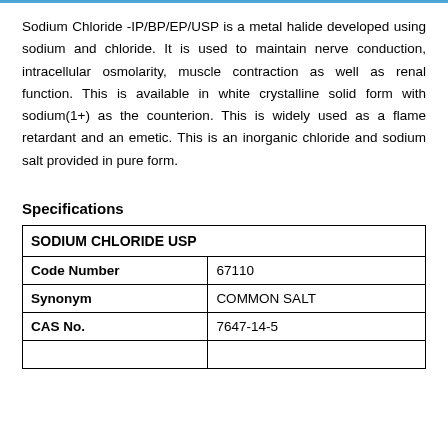Sodium Chloride -IP/BP/EP/USP is a metal halide developed using sodium and chloride. It is used to maintain nerve conduction, intracellular osmolarity, muscle contraction as well as renal function. This is available in white crystalline solid form with sodium(1+) as the counterion. This is widely used as a flame retardant and an emetic. This is an inorganic chloride and sodium salt provided in pure form.
Specifications
| SODIUM CHLORIDE USP |  |
| --- | --- |
| Code Number | 67110 |
| Synonym | COMMON SALT |
| CAS No. | 7647-14-5 |